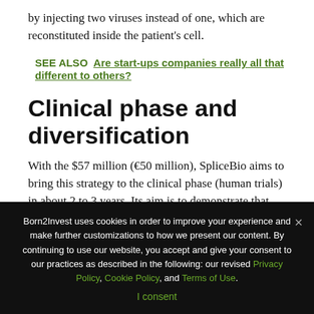by injecting two viruses instead of one, which are reconstituted inside the patient's cell.
SEE ALSO  Are start-ups companies really all that different to others?
Clinical phase and diversification
With the $57 million (€50 million), SpliceBio aims to bring this strategy to the clinical phase (human trials) in about 2 to 3 years. Its aim is to demonstrate that this approach can slow down rare diseases such as Sterdgart's disease, which
Born2Invest uses cookies in order to improve your experience and make further customizations to how we present our content. By continuing to use our website, you accept and give your consent to our practices as described in the following: our revised Privacy Policy, Cookie Policy, and Terms of Use.
I consent